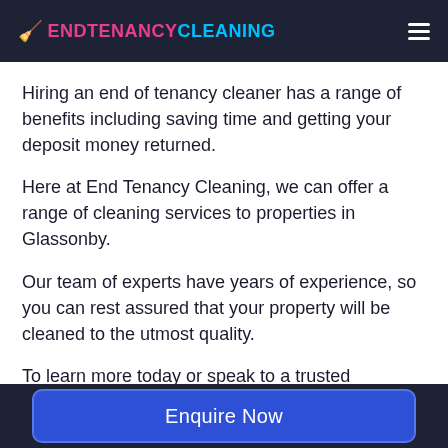ENDTENANCYCLEANING
Hiring an end of tenancy cleaner has a range of benefits including saving time and getting your deposit money returned.
Here at End Tenancy Cleaning, we can offer a range of cleaning services to properties in Glassonby.
Our team of experts have years of experience, so you can rest assured that your property will be cleaned to the utmost quality.
To learn more today or speak to a trusted
Enquire Now